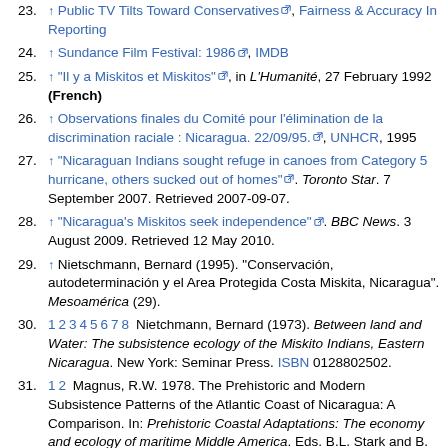23. ↑ Public TV Tilts Toward Conservatives, Fairness & Accuracy In Reporting
24. ↑ Sundance Film Festival: 1986, IMDB
25. ↑ "Il y a Miskitos et Miskitos", in L'Humanité, 27 February 1992 (French)
26. ↑ Observations finales du Comité pour l'élimination de la discrimination raciale : Nicaragua. 22/09/95., UNHCR, 1995
27. ↑ "Nicaraguan Indians sought refuge in canoes from Category 5 hurricane, others sucked out of homes". Toronto Star. 7 September 2007. Retrieved 2007-09-07.
28. ↑ "Nicaragua's Miskitos seek independence". BBC News. 3 August 2009. Retrieved 12 May 2010.
29. ↑ Nietschmann, Bernard (1995). "Conservación, autodeterminación y el Area Protegida Costa Miskita, Nicaragua". Mesoamérica (29).
30. 1 2 3 4 5 6 7 8 Nietchmann, Bernard (1973). Between land and Water: The subsistence ecology of the Miskito Indians, Eastern Nicaragua. New York: Seminar Press. ISBN 0128802502.
31. 1 2 Magnus, R.W. 1978. The Prehistoric and Modern Subsistence Patterns of the Atlantic Coast of Nicaragua: A Comparison. In: Prehistoric Coastal Adaptations: The economy and ecology of maritime Middle America. Eds. B.L. Stark and B. Voorhies.